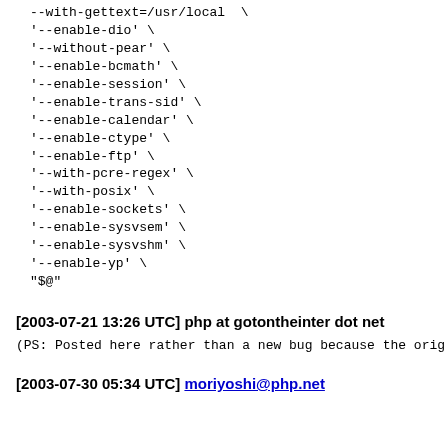--with-gettext=/usr/local \
'--enable-dio' \
'--without-pear' \
'--enable-bcmath' \
'--enable-session' \
'--enable-trans-sid' \
'--enable-calendar' \
'--enable-ctype' \
'--enable-ftp' \
'--with-pcre-regex' \
'--with-posix' \
'--enable-sockets' \
'--enable-sysvsem' \
'--enable-sysvshm' \
'--enable-yp' \
"$@"
[2003-07-21 13:26 UTC] php at gotontheinter dot net
(PS: Posted here rather than a new bug because the orig.
[2003-07-30 05:34 UTC] moriyoshi@php.net